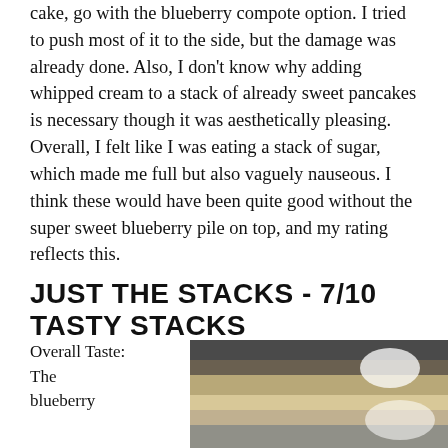cake, go with the blueberry compote option. I tried to push most of it to the side, but the damage was already done. Also, I don't know why adding whipped cream to a stack of already sweet pancakes is necessary though it was aesthetically pleasing. Overall, I felt like I was eating a stack of sugar, which made me full but also vaguely nauseous. I think these would have been quite good without the super sweet blueberry pile on top, and my rating reflects this.
JUST THE STACKS - 7/10 TASTY STACKS
Overall Taste:
The
blueberry
[Figure (photo): A photograph of a plate of pancakes on a restaurant table, showing a stack of pancakes with blueberry topping, with a light/window reflection visible in the background.]